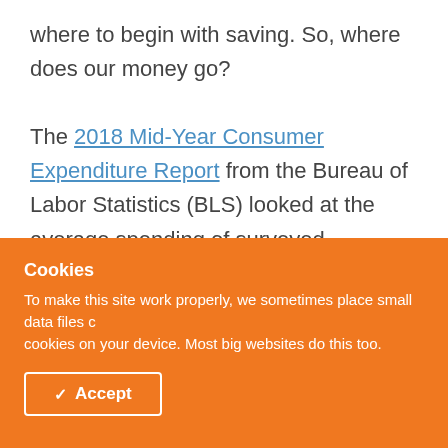where to begin with saving. So, where does our money go?
The 2018 Mid-Year Consumer Expenditure Report from the Bureau of Labor Statistics (BLS) looked at the average spending of surveyed participants between July 2017 and
Cookies
To make this site work properly, we sometimes place small data files called cookies on your device. Most big websites do this too.